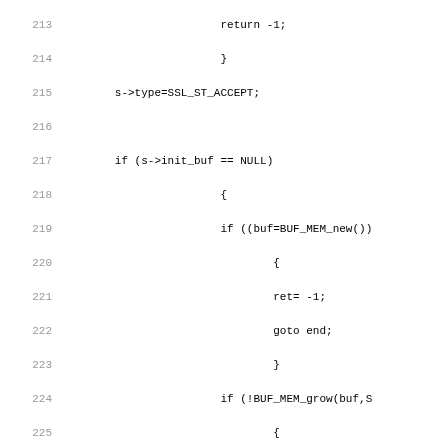Source code listing lines 213-244 showing C code for SSL accept initialization, buffer setup, and state checking